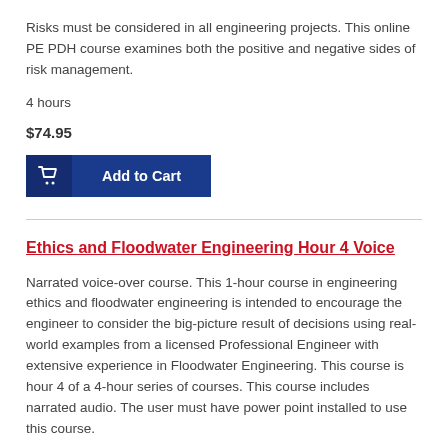Risks must be considered in all engineering projects. This online PE PDH course examines both the positive and negative sides of risk management.
4 hours
$74.95
[Figure (other): Add to Cart button with shopping cart icon, dark blue background]
Ethics and Floodwater Engineering Hour 4 Voice
Narrated voice-over course. This 1-hour course in engineering ethics and floodwater engineering is intended to encourage the engineer to consider the big-picture result of decisions using real-world examples from a licensed Professional Engineer with extensive experience in Floodwater Engineering. This course is hour 4 of a 4-hour series of courses. This course includes narrated audio. The user must have power point installed to use this course.